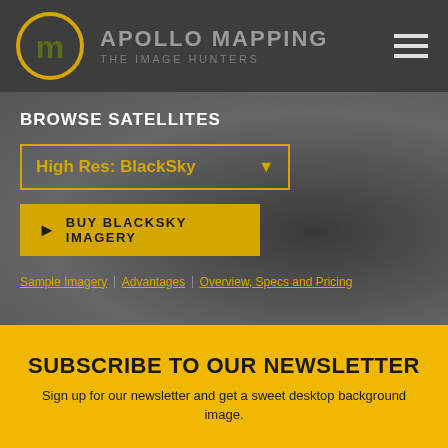[Figure (logo): Apollo Mapping logo: circular yellow/gold ring with stylized AM monogram in olive/dark green inside, next to text APOLLO MAPPING / THE IMAGE HUNTERS in grey on dark background]
BROWSE SATELLITES
High Res: BlackSky
BUY BLACKSKY IMAGERY
Sample Imagery | Advantages | Overview, Specs and Pricing
SUBSCRIBE TO OUR NEWSLETTER
Sign up for our newsletter and get a sweet desktop background image.